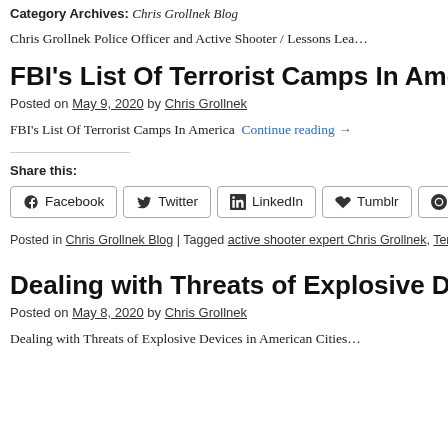Category Archives: Chris Grollnek Blog
Chris Grollnek Police Officer and Active Shooter / Lessons Lea…
FBI's List Of Terrorist Camps In America
Posted on May 9, 2020 by Chris Grollnek
FBI's List Of Terrorist Camps In America Continue reading →
Share this:
Facebook Twitter LinkedIn Tumblr Pinterest
Posted in Chris Grollnek Blog | Tagged active shooter expert Chris Grollnek, Terrorism Prevention Expert, Domestic Security Expert Chris Grollnek, FBI |
Dealing with Threats of Explosive Device…
Posted on May 8, 2020 by Chris Grollnek
Dealing with Threats of Explosive Devices in American Cities…